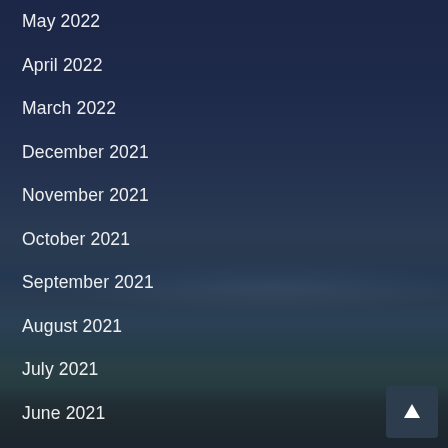May 2022
April 2022
March 2022
December 2021
November 2021
October 2021
September 2021
August 2021
July 2021
June 2021
May 2021
April 2021
March 2021